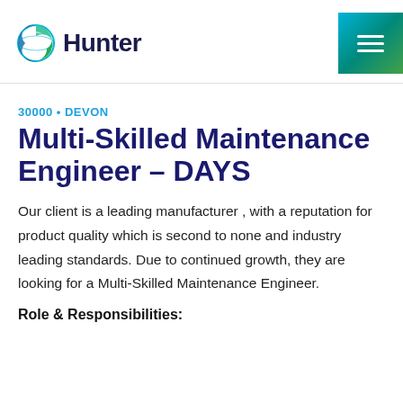Hunter
30000 • DEVON
Multi-Skilled Maintenance Engineer – DAYS
Our client is a leading manufacturer , with a reputation for product quality which is second to none and industry leading standards. Due to continued growth, they are looking for a Multi-Skilled Maintenance Engineer.
Role & Responsibilities: